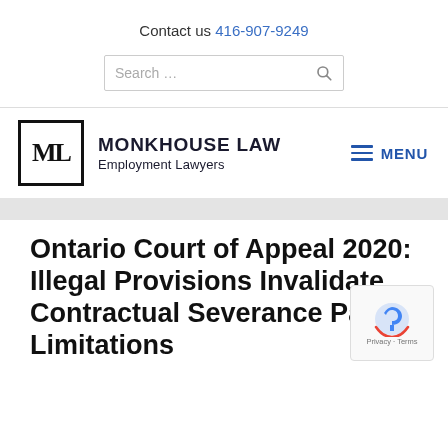Contact us 416-907-9249
[Figure (screenshot): Search bar input field with magnifying glass icon]
[Figure (logo): Monkhouse Law Employment Lawyers logo with ML monogram in bordered box]
MENU
Ontario Court of Appeal 2020: Illegal Provisions Invalidate Contractual Severance Pay Limitations